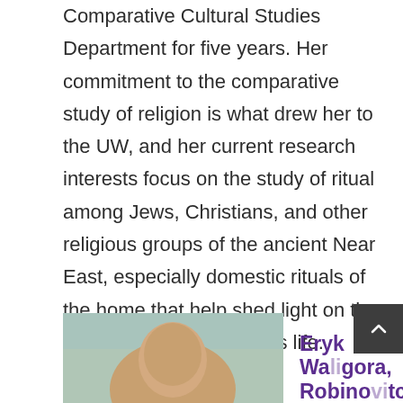Comparative Cultural Studies Department for five years. Her commitment to the comparative study of religion is what drew her to the UW, and her current research interests focus on the study of ritual among Jews, Christians, and other religious groups of the ancient Near East, especially domestic rituals of the home that help shed light on the role of women in religious life.
[Figure (photo): Portrait photo of a person, partially visible, with blurred background]
Eryk Waligora, Robinovitch